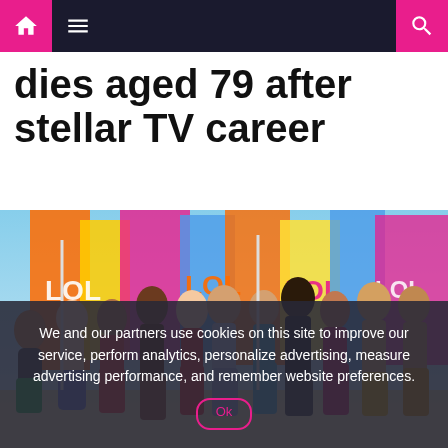Navigation bar with home icon, menu icon, and search icon
dies aged 79 after stellar TV career
[Figure (photo): Group photo of Love Island cast members in swimwear posing in front of colorful LOL banners on a tropical beach set]
We and our partners use cookies on this site to improve our service, perform analytics, personalize advertising, measure advertising performance, and remember website preferences.